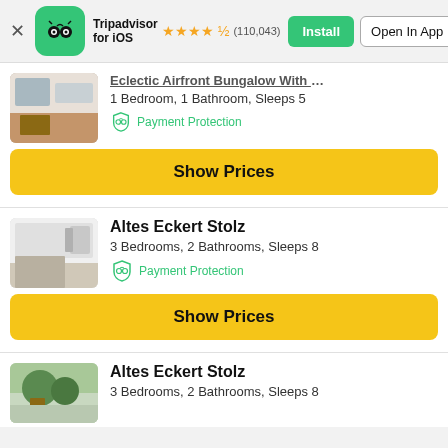Tripadvisor for iOS ★★★★½ (110,043) Install | Open In App
1 Bedroom, 1 Bathroom, Sleeps 5
Payment Protection
Show Prices
Altes Eckert Stolz
3 Bedrooms, 2 Bathrooms, Sleeps 8
Payment Protection
Show Prices
Altes Eckert Stolz
3 Bedrooms, 2 Bathrooms, Sleeps 8